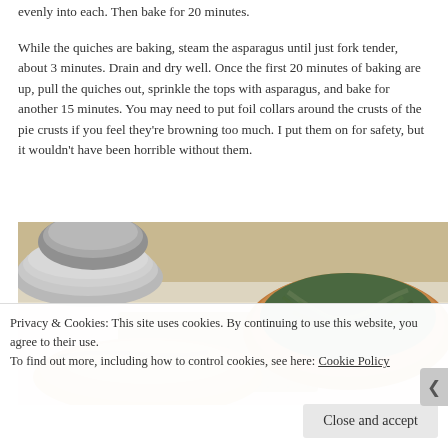evenly into each. Then bake for 20 minutes.
While the quiches are baking, steam the asparagus until just fork tender, about 3 minutes. Drain and dry well. Once the first 20 minutes of baking are up, pull the quiches out, sprinkle the tops with asparagus, and bake for another 15 minutes. You may need to put foil collars around the crusts of the pie crusts if you feel they're browning too much. I put them on for safety, but it wouldn't have been horrible without them.
[Figure (photo): Photo of a baked quiche topped with asparagus on a cooling rack, with stacked plates and utensils visible in the background]
Privacy & Cookies: This site uses cookies. By continuing to use this website, you agree to their use.
To find out more, including how to control cookies, see here: Cookie Policy